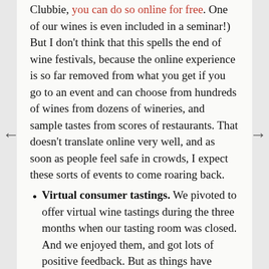Clubbie, you can do so online for free. One of our wines is even included in a seminar!) But I don't think that this spells the end of wine festivals, because the online experience is so far removed from what you get if you go to an event and can choose from hundreds of wines from dozens of wineries, and sample tastes from scores of restaurants. That doesn't translate online very well, and as soon as people feel safe in crowds, I expect these sorts of events to come roaring back.
Virtual consumer tastings. We pivoted to offer virtual wine tastings during the three months when our tasting room was closed. And we enjoyed them, and got lots of positive feedback. But as things have moved toward reopening, we've seen demand fall pretty sharply. In April, we sold 58 of our